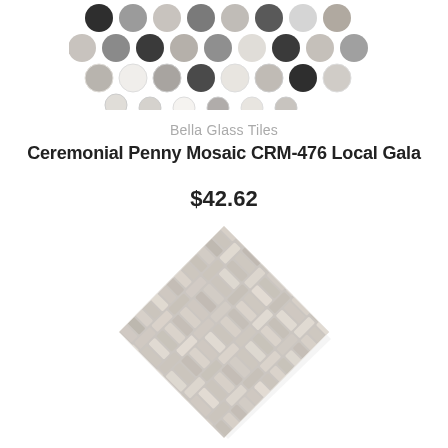[Figure (photo): Penny mosaic tile sample showing rows of circular tiles in various shades of grey, white, dark grey, and beige arranged in a decorative pattern]
Bella Glass Tiles
Ceremonial Penny Mosaic CRM-476 Local Gala
$42.62
[Figure (photo): Herringbone woven mosaic tile sample in muted grey, white, and blush tones arranged in a diagonal basketweave / herringbone pattern]